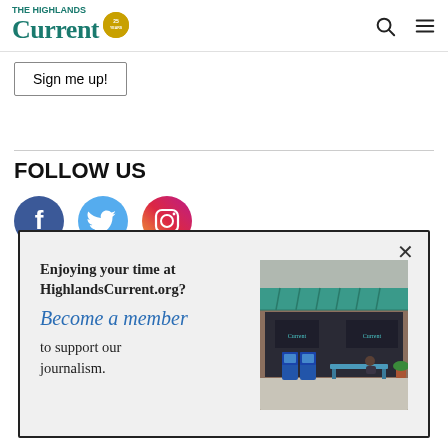The Highlands Current
Sign me up!
FOLLOW US
[Figure (illustration): Social media icons: Facebook (blue circle with f), Twitter (light blue circle with bird), Instagram (purple/pink gradient circle with camera)]
Enjoying your time at HighlandsCurrent.org? Become a member to support our journalism.
[Figure (photo): Storefront of a brick building with a teal/green awning, blue newspaper boxes, and a bench with someone sitting on it. Signs read 'Current' on the windows.]